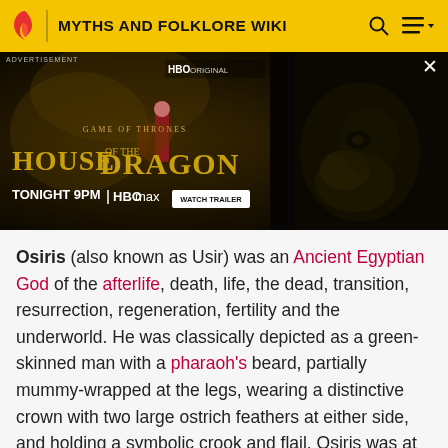MYTHS AND FOLKLORE WIKI
[Figure (screenshot): Advertisement banner for HBO Max 'House of the Dragon' Game of Thrones series, showing Tonight 9PM, HBO Max, Watch Trailer button, with dark fantasy imagery of a dragon and a character in red.]
Osiris (also known as Usir) was an Ancient Egyptian God of the afterlife, death, life, the dead, transition, resurrection, regeneration, fertility and the underworld. He was classically depicted as a green-skinned man with a pharaoh's beard, partially mummy-wrapped at the legs, wearing a distinctive crown with two large ostrich feathers at either side, and holding a symbolic crook and flail. Osiris was at times considered the oldest son of the